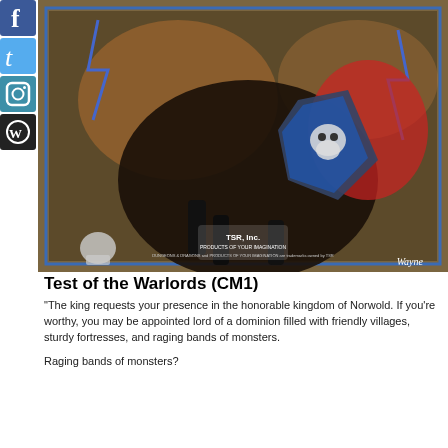[Figure (illustration): Social media sidebar icons: Facebook (blue), Twitter (blue), Instagram (camera icon, blue/teal), WordPress (dark gray/black)]
[Figure (photo): Cover art photograph of the Dungeons & Dragons module 'Test of the Warlords (CM1)' showing a dark armored warrior on a rearing black horse, holding a skull-emblazoned shield, with lightning in background. TSR Inc. logo and text visible at bottom. Artist signature 'Wayne' in lower right corner.]
Test of the Warlords (CM1)
"The king requests your presence in the honorable kingdom of Norwold. If you're worthy, you may be appointed lord of a dominion filled with friendly villages, sturdy fortresses, and raging bands of monsters.
Raging bands of monsters?